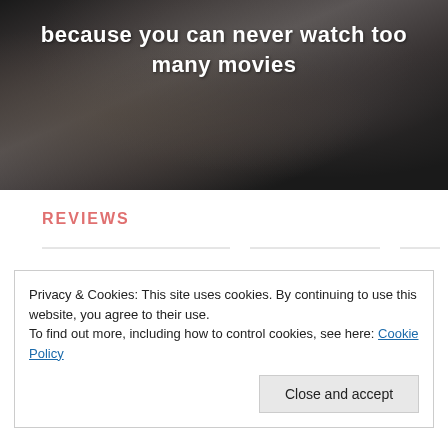[Figure (photo): Black and white photo of two people at a formal event, one wearing novelty glasses, with white text overlay reading 'because you can never watch too many movies']
because you can never watch too many movies
REVIEWS
Privacy & Cookies: This site uses cookies. By continuing to use this website, you agree to their use.
To find out more, including how to control cookies, see here: Cookie Policy
Close and accept